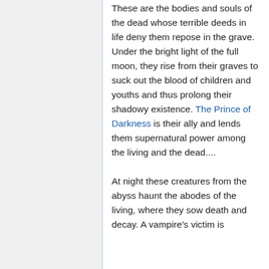These are the bodies and souls of the dead whose terrible deeds in life deny them repose in the grave. Under the bright light of the full moon, they rise from their graves to suck out the blood of children and youths and thus prolong their shadowy existence. The Prince of Darkness is their ally and lends them supernatural power among the living and the dead....
At night these creatures from the abyss haunt the abodes of the living, where they sow death and decay. A vampire's victim is deemed to ride without...